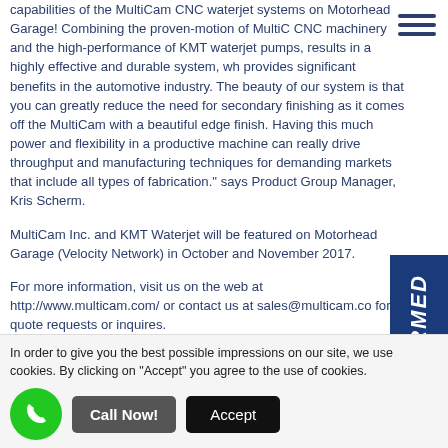capabilities of the MultiCam CNC waterjet systems on Motorhead Garage! Combining the proven-motion of MultiC CNC machinery and the high-performance of KMT waterjet pumps, results in a highly effective and durable system, wh provides significant benefits in the automotive industry. The beauty of our system is that you can greatly reduce the need for secondary finishing as it comes off the MultiCam with a beautiful edge finish. Having this much power and flexibility in a productive machine can really drive throughput and manufacturing techniques for demanding markets that include all types of fabrication." says Product Group Manager, Kris Scherm.
MultiCam Inc. and KMT Waterjet will be featured on Motorhead Garage (Velocity Network) in October and November 2017.
For more information, visit us on the web at http://www.multicam.com/ or contact us at sales@multicam.co for quote requests or inquires.
# # #
In order to give you the best possible impressions on our site, we use cookies. By clicking on "Accept" you agree to the use of cookies.